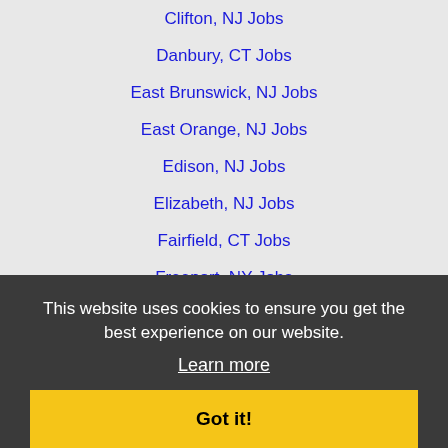Clifton, NJ Jobs
Danbury, CT Jobs
East Brunswick, NJ Jobs
East Orange, NJ Jobs
Edison, NJ Jobs
Elizabeth, NJ Jobs
Fairfield, CT Jobs
Freeport, NY Jobs
Greenwich, CT Jobs
Hackensack, NJ Jobs
Hamilton, NJ Jobs
Hempstead, NY Jobs
Hicksville, NY Jobs
Hoboken, NJ Jobs
Irvington, NJ Jobs
Jersey City, NJ Jobs
Lakewood, NJ Jobs
Levittown, NY Jobs
This website uses cookies to ensure you get the best experience on our website.
Learn more
Got it!